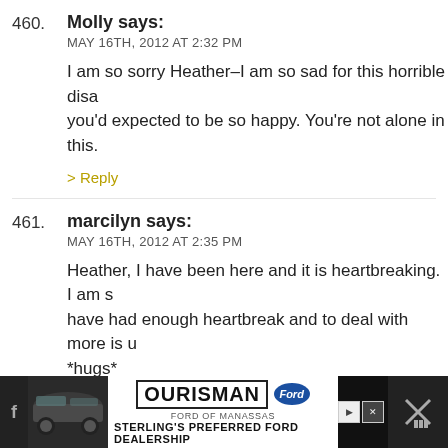460. Molly says: MAY 16TH, 2012 AT 2:32 PM — I am so sorry Heather–I am so sad for this horrible disa... you'd expected to be so happy. You're not alone in this.
461. marcilyn says: MAY 16TH, 2012 AT 2:35 PM — Heather, I have been here and it is heartbreaking. I am s... have had enough heartbreak and to deal with more is u... *hugs*
462. Nicole says: MAY 16TH, 2012 AT 2:36 PM — Oh my gosh. My heart just dropped. I'm so sorry. Just so sorry.
[Figure (screenshot): Advertisement banner for Ourisman Ford of Manassas dealership at bottom of page]